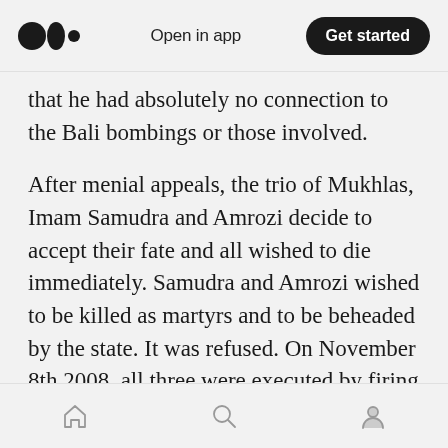Medium logo | Open in app | Get started
that he had absolutely no connection to the Bali bombings or those involved.
After menial appeals, the trio of Mukhlas, Imam Samudra and Amrozi decide to accept their fate and all wished to die immediately. Samudra and Amrozi wished to be killed as martyrs and to be beheaded by the state. It was refused. On November 8th 2008, all three were executed by firing squad. The manner in which they died were chosen for them. An ironic end to men who decided the fates of 202 people who based it on
Home | Search | Profile